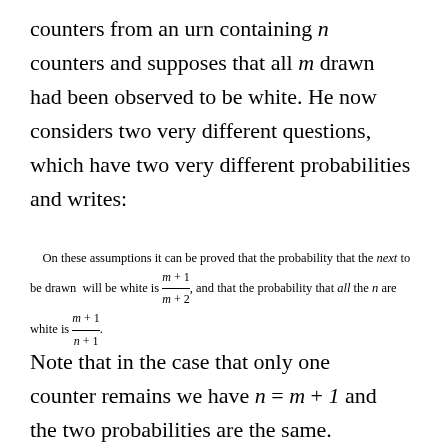counters from an urn containing n counters and supposes that all m drawn had been observed to be white. He now considers two very different questions, which have two very different probabilities and writes:
On these assumptions it can be proved that the probability that the next to be drawn will be white is (m + 1)/(m + 2), and that the probability that all the n are white is (m + 1)/(n + 1).
Note that in the case that only one counter remains we have n = m + 1 and the two probabilities are the same. However, if n > m+1 they are not the